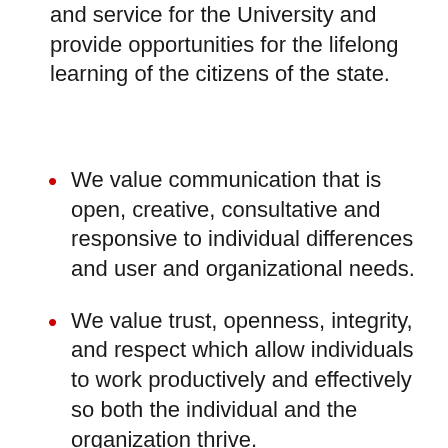and service for the University and provide opportunities for the lifelong learning of the citizens of the state.
We value communication that is open, creative, consultative and responsive to individual differences and user and organizational needs.
We value trust, openness, integrity, and respect which allow individuals to work productively and effectively so both the individual and the organization thrive.